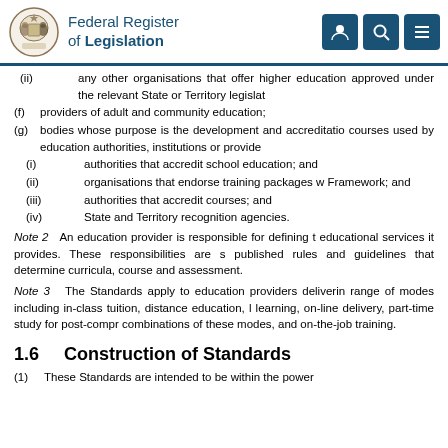Federal Register of Legislation
(ii) any other organisations that offer higher education approved under the relevant State or Territory legislat
(f) providers of adult and community education;
(g) bodies whose purpose is the development and accreditation courses used by education authorities, institutions or providers
(i) authorities that accredit school education; and
(ii) organisations that endorse training packages w Framework; and
(iii) authorities that accredit courses; and
(iv) State and Territory recognition agencies.
Note 2 An education provider is responsible for defining t educational services it provides. These responsibilities are s published rules and guidelines that determine curricula, course and assessment.
Note 3 The Standards apply to education providers deliverin range of modes including in-class tuition, distance education, l learning, on-line delivery, part-time study for post-compr combinations of these modes, and on-the-job training.
1.6 Construction of Standards
(1) These Standards are intended to be within the power